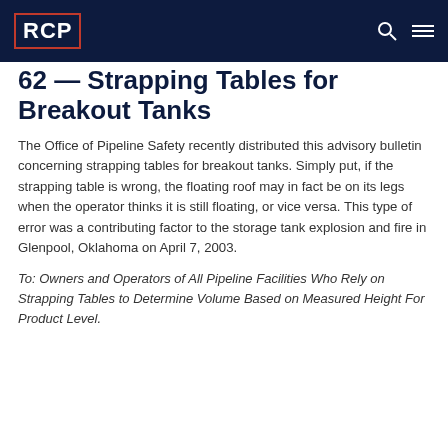RCP
62 — Strapping Tables for Breakout Tanks
The Office of Pipeline Safety recently distributed this advisory bulletin concerning strapping tables for breakout tanks. Simply put, if the strapping table is wrong, the floating roof may in fact be on its legs when the operator thinks it is still floating, or vice versa. This type of error was a contributing factor to the storage tank explosion and fire in Glenpool, Oklahoma on April 7, 2003.
To: Owners and Operators of All Pipeline Facilities Who Rely on Strapping Tables to Determine Volume Based on Measured Height For Product Level.